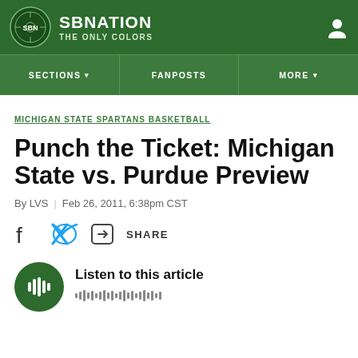SBNation / The Only Colors
MICHIGAN STATE SPARTANS BASKETBALL
Punch the Ticket: Michigan State vs. Purdue Preview
By LVS | Feb 26, 2011, 6:38pm CST
SHARE
Listen to this article